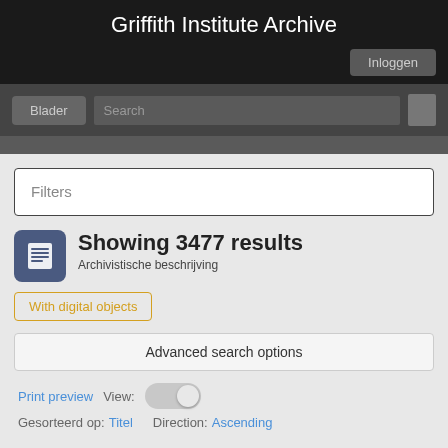Griffith Institute Archive
Inloggen
Blader  Search
Filters
Showing 3477 results
Archivistische beschrijving
With digital objects
Advanced search options
Print preview  View:  Gesorteerd op: Titel  Direction: Ascending